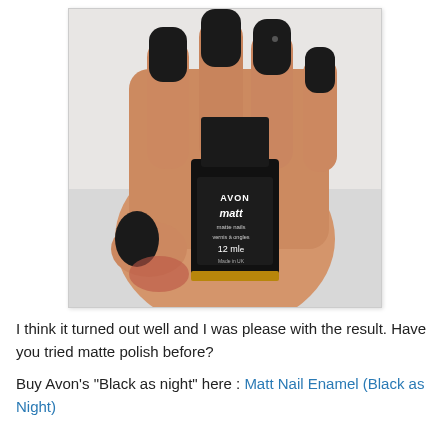[Figure (photo): A hand with matte black nail polish holding a small black bottle of Avon Matt nail enamel (12ml). The nails are painted matte black. The bottle label reads AVON matte, matte nails, vernis à ongles, 12 ml, Made in UK.]
I think it turned out well and I was please with the result. Have you tried matte polish before?
Buy Avon's "Black as night" here : Matt Nail Enamel (Black as Night)